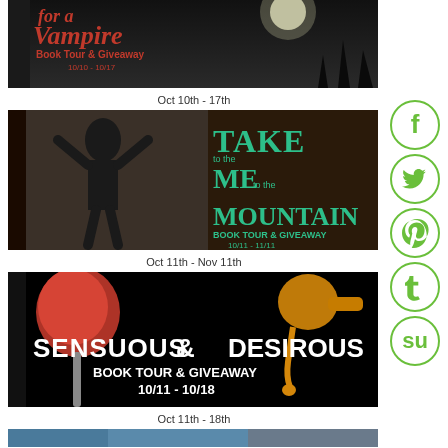[Figure (illustration): Book tour banner for a vampire book titled 'for a Vampire', Book Tour & Giveaway 10/10 - 10/17, dark gothic style with moon]
Oct 10th - 17th
[Figure (illustration): Book tour banner 'Take Me to the Mountain', Book Tour & Giveaway 10/11 - 11/11, featuring shirtless man with arms raised]
Oct 11th - Nov 11th
[Figure (illustration): Book tour banner 'Sensuous & Desirous', Book Tour & Giveaway 10/11 - 10/18, featuring candy apple and honey]
Oct 11th - 18th
[Figure (illustration): Partial view of another book tour banner at bottom of page]
[Figure (illustration): Social media icons column: Facebook, Twitter, Pinterest, Tumblr, StumbleUpon - circular green icons on right side]